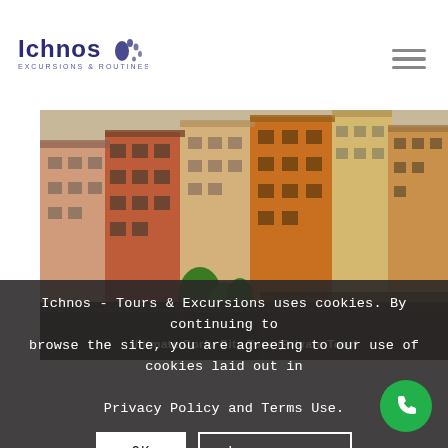[Figure (logo): Ichnos Tours & Excursions logo with footprint icon, blue text]
[Figure (photo): Aerial view of Corfu old town with colorful Mediterranean buildings, red and orange rooftops, green trees]
Ultimate Corfu City Tour (Private Tour)
Ichnos - Tours & Excursions uses cookies. By continuing to browse the site, you are agreeing to our use of cookies laid out in Privacy Policy and Terms Use.
OK
Learn more